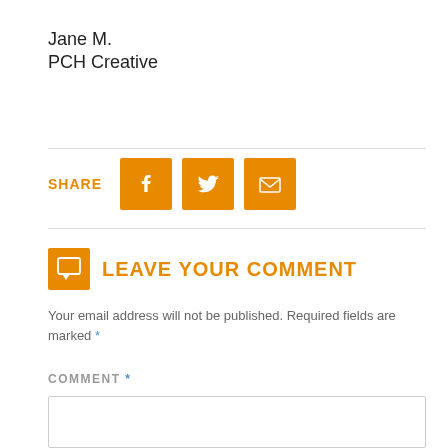Jane M.
PCH Creative
[Figure (infographic): Share row with SHARE label and three orange social media icons: Facebook, Twitter, and Email/envelope]
LEAVE YOUR COMMENT
Your email address will not be published. Required fields are marked *
COMMENT *